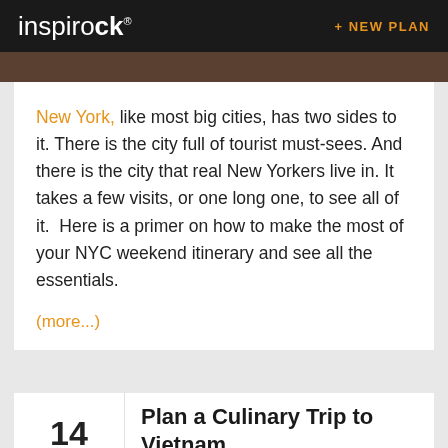inspirock® + NEW PLAN
New York, like most big cities, has two sides to it. There is the city full of tourist must-sees. And there is the city that real New Yorkers live in. It takes a few visits, or one long one, to see all of it.  Here is a primer on how to make the most of your NYC weekend itinerary and see all the essentials.
(more...)
14 APR 2017
Plan a Culinary Trip to Vietnam
Guest Blogger